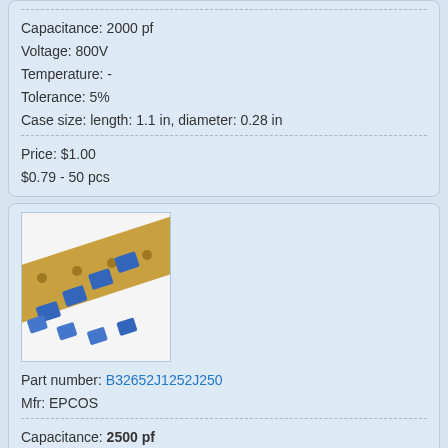Capacitance: 2000 pf
Voltage: 800V
Temperature: -
Tolerance: 5%
Case size: length: 1.1 in, diameter: 0.28 in
Price: $1.00
$0.79 - 50 pcs
[Figure (photo): Photo of blue ceramic capacitors on a gold tape reel strip]
Part number: B32652J1252J250
Mfr: EPCOS
Capacitance: 2500 pf
Voltage: 700V
Temperature: -
Tolerance: 5%
Case size: length: 0.1800 in, width: 0.6900 in, height: 0.4900 in
Price: $1.00